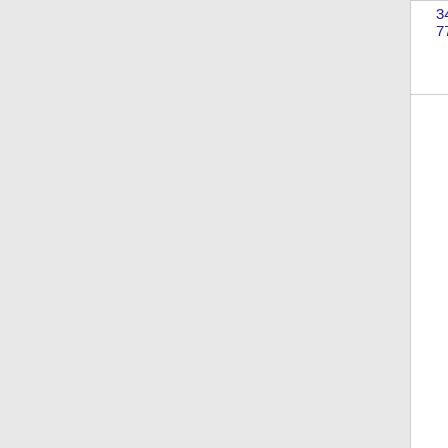| Number | State | Company Name | Code | Abbr |
| --- | --- | --- | --- | --- |
| 347-
774-
8 | NY | BROADVIEW NETWORKS, INC. - NY (Windstream Holdings) | 4593 | NWYRC... |
| [Thousands block for 347-802] |  |  |  |  |
| 347-
802-
4 | NY | BROADVIEW NETWORKS, INC. - NY (Windstream | 4593 | NWYRC... |